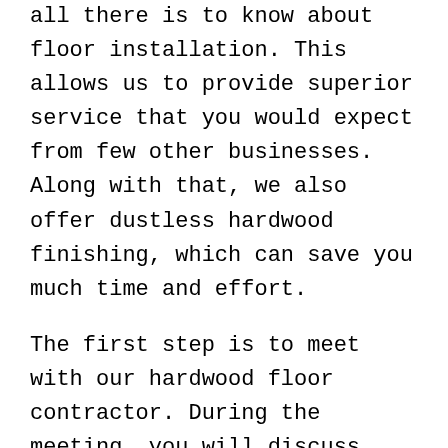all there is to know about floor installation. This allows us to provide superior service that you would expect from few other businesses. Along with that, we also offer dustless hardwood finishing, which can save you much time and effort.
The first step is to meet with our hardwood floor contractor. During the meeting, you will discuss every aspect of your installation, including design and type of wood. We will then meet with you in your home to begin with initial plans and potential options. Installation estimates are also offered after your home has been thoroughly inspected by our professionals.